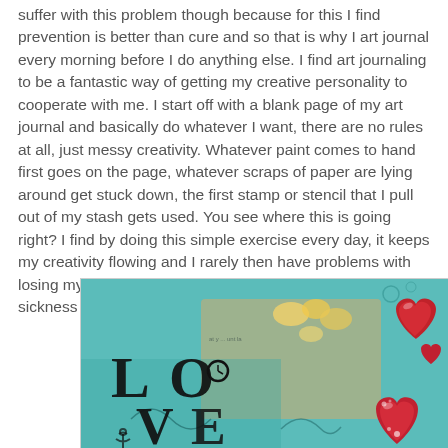suffer with this problem though because for this I find prevention is better than cure and so that is why I art journal every morning before I do anything else. I find art journaling to be a fantastic way of getting my creative personality to cooperate with me. I start off with a blank page of my art journal and basically do whatever I want, there are no rules at all, just messy creativity. Whatever paint comes to hand first goes on the page, whatever scraps of paper are lying around get stuck down, the first stamp or stencil that I pull out of my stash gets used. You see where this is going right? I find by doing this simple exercise every day, it keeps my creativity flowing and I rarely then have problems with losing my mojo anymore unless it is for reasons such as sickness etc.
[Figure (illustration): An art journal page featuring the word LOVE in large black letters with decorative elements including red hearts, teal/turquoise background, yellow flowers, and mixed media collage elements.]